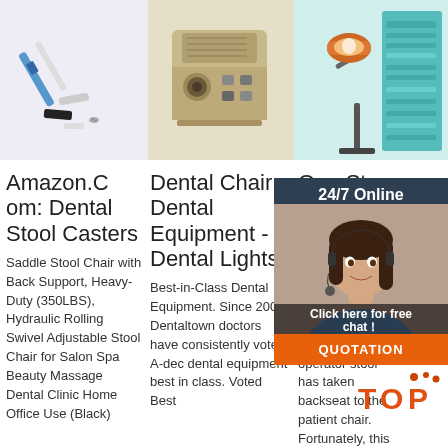[Figure (photo): Dental tools including a pen-like instrument with blue tip, smaller instruments, and black items on a light purple background]
[Figure (photo): Tan/beige dental equipment machine with vents and controls on a light beige background]
[Figure (photo): Dental lamp on a stand with a teal/green informational card beside it]
Amazon.Com: Dental Stool Casters
Saddle Stool Chair with Back Support, Heavy-Duty (350LBS), Hydraulic Rolling Swivel Adjustable Stool Chair for Salon Spa Beauty Massage Dental Clinic Home Office Use (Black)
Dental Chair - Dental Equipment - Dental Lights
Best-in-Class Dental Equipment. Since 2003, Dentaltown doctors have consistently voted A-dec dental equipment best in class. Voted Best
Ope Stoc How Sele And Adju Impa
2008-9 1u2002 orically, the importance of the dental operator stool has taken a backseat to the patient chair. Fortunately, this
[Figure (photo): 24/7 Online chat overlay with a woman wearing a headset, Click here for free chat button, and QUOTATION orange button]
[Figure (logo): TOP logo with orange dots above]